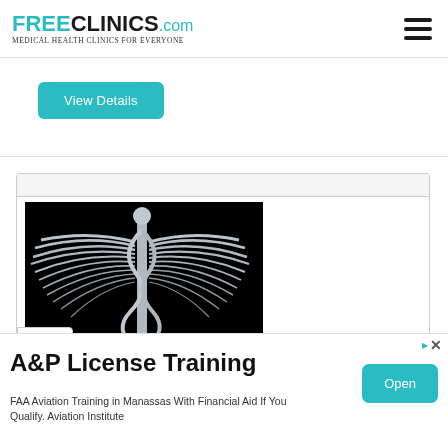FREECLINICS.COM — Medical Health Clinics For Everyone
View Details
[Figure (photo): 3D rendered caduceus medical symbol (winged staff with serpents) on black background]
A&P License Training
FAA Aviation Training in Manassas With Financial Aid If You Qualify. Aviation Institute
Open